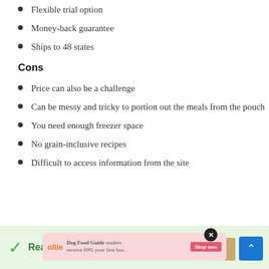Comes in environment-friendly packaging
Flexible trial option
Money-back guarantee
Ships to 48 states
Cons
Price can also be a challenge
Can be messy and tricky to portion out the meals from the pouch
You need enough freezer space
No grain-inclusive recipes
Difficult to access information from the site
[Figure (infographic): Green banner with checkmark icon and partial text 'Rea... og' with an ad overlay for Ollie dog food and a scroll-to-top button]